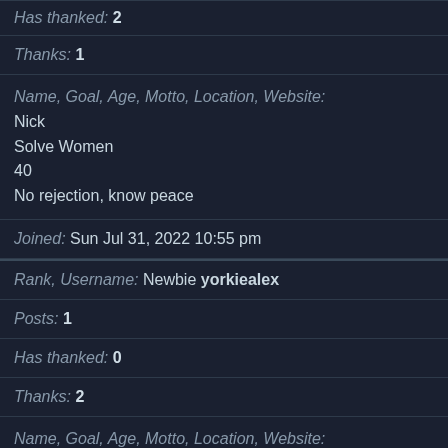Has thanked: 2
Thanks: 1
Name, Goal, Age, Motto, Location, Website:
Nick
Solve Women
40
No rejection, know peace
Joined: Sun Jul 31, 2022 10:55 pm
Rank, Username: Newbie yorkiealex
Posts: 1
Has thanked: 0
Thanks: 2
Name, Goal, Age, Motto, Location, Website:
Get laid
20